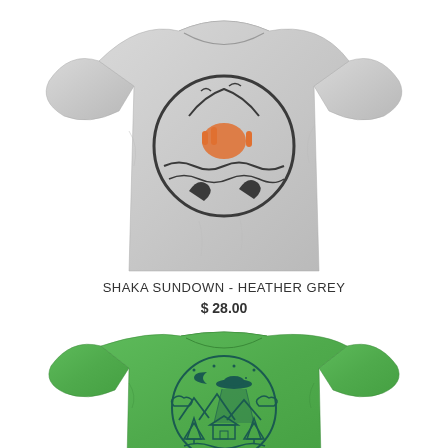[Figure (photo): Grey heather t-shirt with Shaka Sundown graphic design featuring a hand making shaka sign with sun/ocean motif in dark ink with orange accent]
SHAKA SUNDOWN - HEATHER GREY
$ 28.00
New
[Figure (photo): Green heather t-shirt with UFO abduction cabin in the woods circular graphic design in dark teal ink, with mountains, pine trees, cabin, and waves]